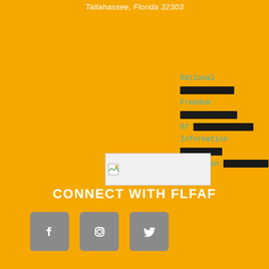Tallahassee, Florida 32303
[Figure (other): National Freedom Of Information Coalition text block with redacted portions]
[Figure (other): Broken image placeholder]
CONNECT WITH FLFAF
[Figure (other): Social media icons: Facebook, Instagram, Twitter]